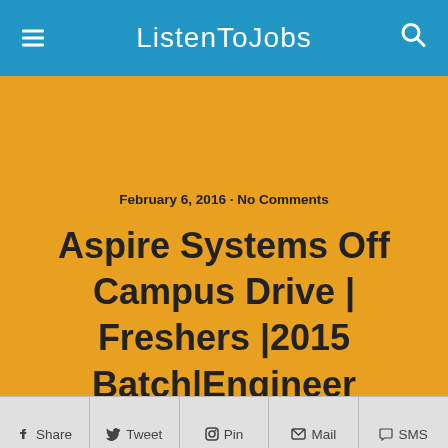ListenToJobs
February 6, 2016 · No Comments
Aspire Systems Off Campus Drive | Freshers |2015 Batch|Engineer Trainee|CTC 2.64 LPA|On 7th Feb 2016
Share  Tweet  Pin  Mail  SMS